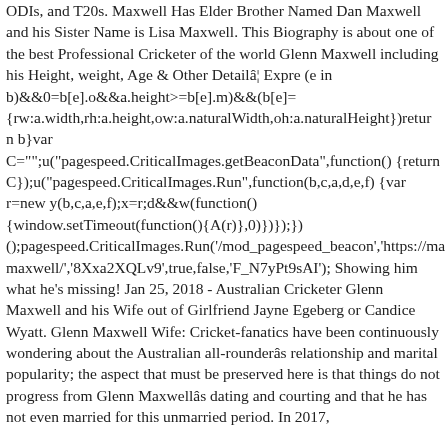ODIs, and T20s. Maxwell Has Elder Brother Named Dan Maxwell and his Sister Name is Lisa Maxwell. This Biography is about one of the best Professional Cricketer of the world Glenn Maxwell including his Height, weight, Age & Other Detailâ¦ Expre (e in b)&&0=b[e].o&&a.height>=b[e].m)&&(b[e]={rw:a.width,rh:a.height,ow:a.naturalWidth,oh:a.naturalHeight})return b}var C="";u("pagespeed.CriticalImages.getBeaconData",function(){return C});u("pagespeed.CriticalImages.Run",function(b,c,a,d,e,f){var r=new y(b,c,a,e,f);x=r;d&&w(function(){window.setTimeout(function(){A(r)},0)})});})();pagespeed.CriticalImages.Run('/mod_pagespeed_beacon','https://ma maxwell/','8Xxa2XQLv9',true,false,'F_N7yPt9sAI'); Showing him what he's missing! Jan 25, 2018 - Australian Cricketer Glenn Maxwell and his Wife out of Girlfriend Jayne Egeberg or Candice Wyatt. Glenn Maxwell Wife: Cricket-fanatics have been continuously wondering about the Australian all-rounderâs relationship and marital popularity; the aspect that must be preserved here is that things do not progress from Glenn Maxwellâs dating and courting and that he has not even married for this unmarried period. In 2017,